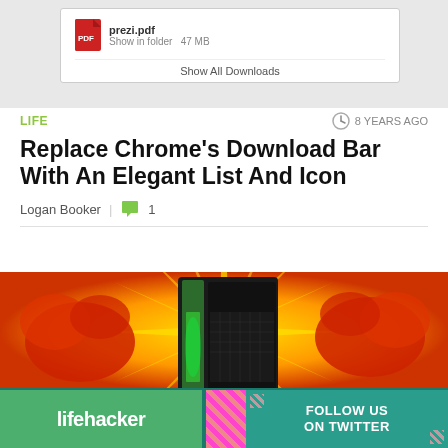[Figure (screenshot): Browser download bar showing prezi.pdf download with 'Show in folder' and '47 MB', plus 'Show All Downloads' button]
LIFE
8 YEARS AGO
Replace Chrome's Download Bar With An Elegant List And Icon
Logan Booker  |  1
[Figure (photo): Gaming PC tower with green LED accents against a comic-book explosion background with red, orange and yellow graphic bursts]
[Figure (screenshot): Lifehacker banner ad with 'FOLLOW US ON TWITTER' button in teal/green color scheme]